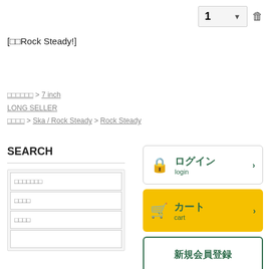1 ▼ 🗑
[□□Rock Steady!]
□□□□□□ > 7 inch
LONG SELLER
□□□□ > Ska / Rock Steady > Rock Steady
SEARCH
□□□□□□□ (search input placeholder)
□□□□ (search input placeholder)
□□□□ (search input placeholder)
[Figure (screenshot): Login button with lock icon, Japanese text ログイン and English login, with chevron]
[Figure (screenshot): Cart button (yellow) with cart icon, Japanese text カート and English cart, with chevron]
[Figure (screenshot): New member registration box with Japanese text 新規会員登録]